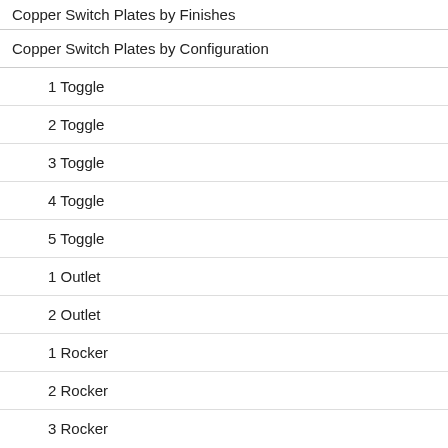Copper Switch Plates by Finishes
Copper Switch Plates by Configuration
1 Toggle
2 Toggle
3 Toggle
4 Toggle
5 Toggle
1 Outlet
2 Outlet
1 Rocker
2 Rocker
3 Rocker